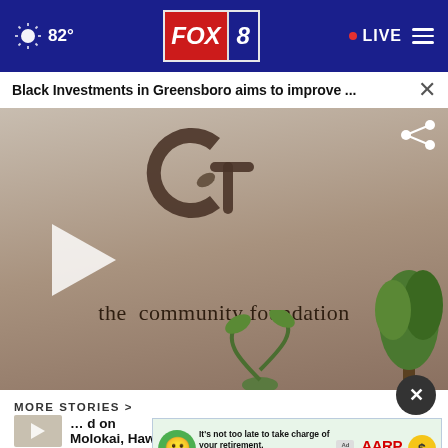82° FOX 8 LIVE
Black Investments in Greensboro aims to improve ...
[Figure (screenshot): Video thumbnail showing the Community Foundation office lobby with the organization's logo on the wall and a play button overlay]
MORE STORIES >
... d on Molokai, Hawaii
[Figure (screenshot): AARP advertisement banner: It's not too late to take charge of your retirement. Get your top 3 tips →]